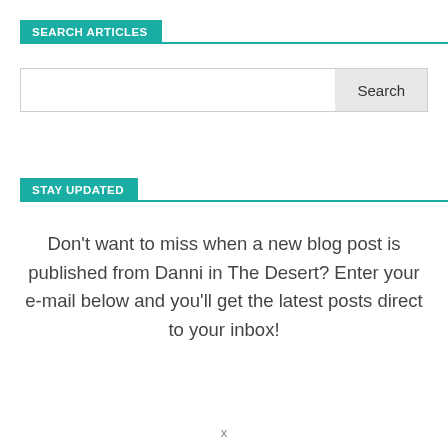SEARCH ARTICLES
[Figure (screenshot): Search input box with a 'Search' button on the right side]
STAY UPDATED
Don't want to miss when a new blog post is published from Danni in The Desert? Enter your e-mail below and you'll get the latest posts direct to your inbox!